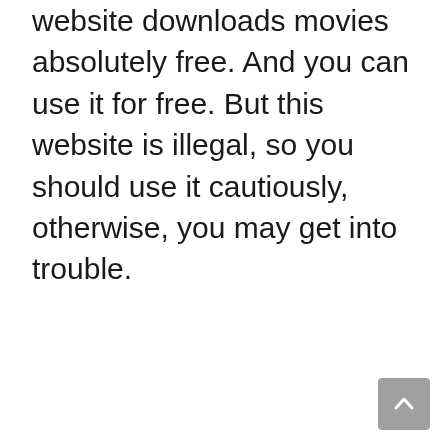website downloads movies absolutely free. And you can use it for free. But this website is illegal, so you should use it cautiously, otherwise, you may get into trouble.